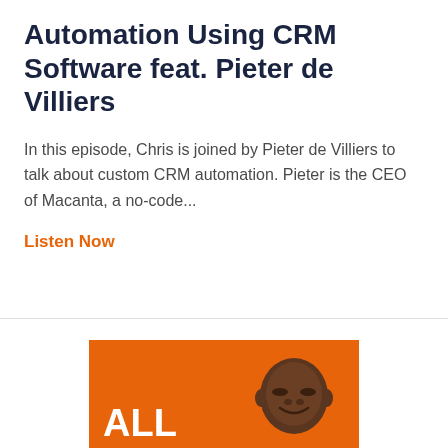Automation Using CRM Software feat. Pieter de Villiers
In this episode, Chris is joined by Pieter de Villiers to talk about custom CRM automation. Pieter is the CEO of Macanta, a no-code...
Listen Now
[Figure (photo): Orange banner image showing the text 'ALL' in large white bold letters on the left side and a person's head/face visible on the right side against an orange background.]